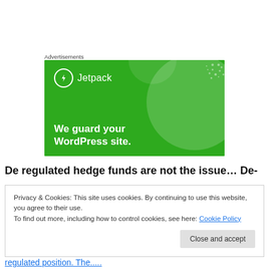Advertisements
[Figure (illustration): Jetpack advertisement banner with green background, Jetpack logo (circle with lightning bolt), and text 'We guard your WordPress site.']
De regulated hedge funds are not the issue… De-
Privacy & Cookies: This site uses cookies. By continuing to use this website, you agree to their use.
To find out more, including how to control cookies, see here: Cookie Policy
Close and accept
regulated position. The...